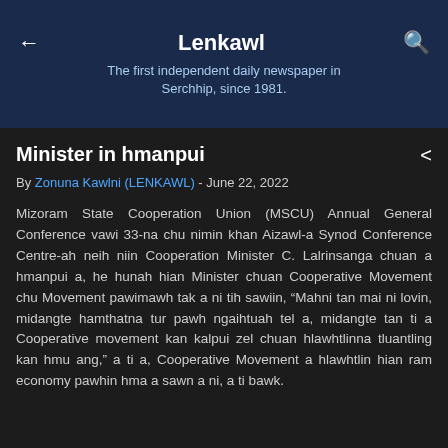Lenkawl
The first independent daily newspaper in Serchhip, since 1981.
Minister in hmanpui
By Zonuna Kawlni (LENKAWL) - June 22, 2022
Mizoram State Cooperation Union (MSCU) Annual General Conference vawi 33-na chu nimin khan Aizawl-a Synod Conference Centre-ah neih niin Cooperation Minister C. Lalrinsanga chuan a hmanpui a, he hunah hian Minister chuan Cooperative Movement chu Movement pawimawh tak a ni tih sawiin, “Mahni tan mai ni lovin, midangte hamthatna tur pawh ngaihtuah tel a, midangte tan ti a Cooperative movement kan kalpui zel chuan hlawhtlinna tluantling kan hmu ang,” a ti a, Cooperative Movement a hlawhtlin hian ram economy pawhin hma a sawn a ni, a ti bawk.